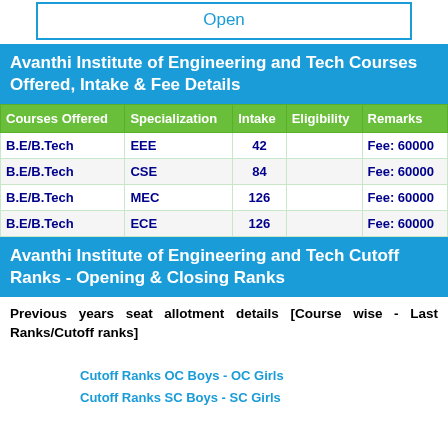Open
Avanthi Institute of Engineering and Tech Courses Offered, Intake & Fee Details
| Courses Offered | Specialization | Intake | Eligibility | Remarks |
| --- | --- | --- | --- | --- |
| B.E/B.Tech | EEE | 42 |  | Fee: 60000 |
| B.E/B.Tech | CSE | 84 |  | Fee: 60000 |
| B.E/B.Tech | MEC | 126 |  | Fee: 60000 |
| B.E/B.Tech | ECE | 126 |  | Fee: 60000 |
Avanthi Institute of Engineering and Tech Cutoff Ranks - Opening & Closing Ranks
Previous years seat allotment details [Course wise - Last Ranks/Cutoff ranks]
Cutoff Ranks OC Boys - OC Girls
Cutoff Ranks SC Boys - SC Girls